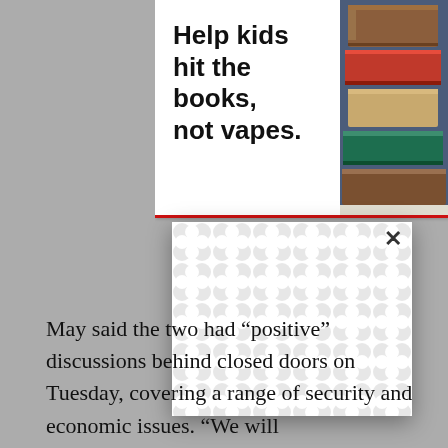[Figure (other): Advertisement banner showing text 'Help kids hit the books, not vapes.' alongside a stack of books photograph, with a red border at bottom]
[Figure (screenshot): A modal/popup dialog with a patterned background (white interlocking circles pattern) and an X close button in the top right corner, overlaying article content]
The U.S. [text obscured by modal] countries soon w[text obscured] ying “every[text obscured] g talks.
May said the two had “positive” discussions behind closed doors on Tuesday, covering a range of security and economic issues. “We will